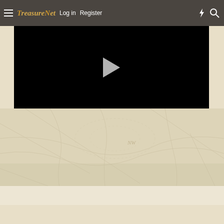TreasureNet — Log in | Register
[Figure (screenshot): Black video player with a play button triangle in the center]
[Figure (map): Antique-style treasure map background with faint road/path lines, compass markings 'NW', and aged parchment coloring]